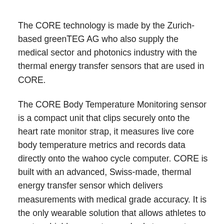The CORE technology is made by the Zurich-based greenTEG AG who also supply the medical sector and photonics industry with the thermal energy transfer sensors that are used in CORE.
The CORE Body Temperature Monitoring sensor is a compact unit that clips securely onto the heart rate monitor strap, it measures live core body temperature metrics and records data directly onto the wahoo cycle computer. CORE is built with an advanced, Swiss-made, thermal energy transfer sensor which delivers measurements with medical grade accuracy. It is the only wearable solution that allows athletes to capture highly accurate core body temperature data without the need for an ingested or inserted thermometer.